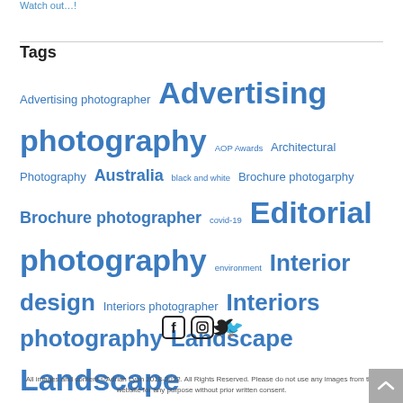Watch out....
Tags
Advertising photographer Advertising photography AOP Awards Architectural Photography Australia black and white Brochure photogarphy Brochure photographer covid-19 Editorial photography environment Interior design Interiors photographer Interiors photography Landscape Landscape photographer
[Figure (other): Social media icons: Facebook, Instagram, Twitter]
All images and content ©Adrian Lyon 2018-2022. All Rights Reserved. Please do not use any images from this website for any purpose without prior written consent.